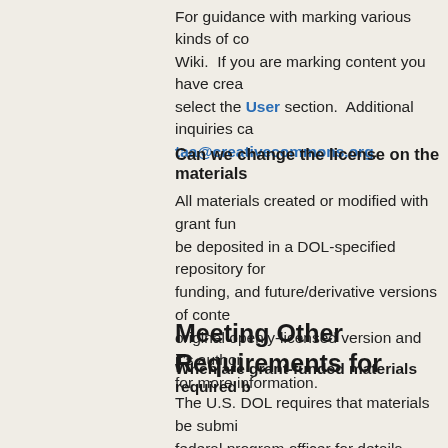For guidance with marking various kinds of content, see the CC Wiki.  If you are marking content you have created yourself, select the User section.  Additional inquiries can be directed to taa@creativecommons.org.
Can we change the license on the materials
All materials created or modified with grant funding must be deposited in a DOL-specified repository for the term of the funding, and future/derivative versions of content must cite the original openly-licensed version and it's authorship. See FAQ for more information.
Meeting Other Requirements for
When are grant-funded materials required b
The U.S. DOL requires that materials be submitted... federal program officer for details.